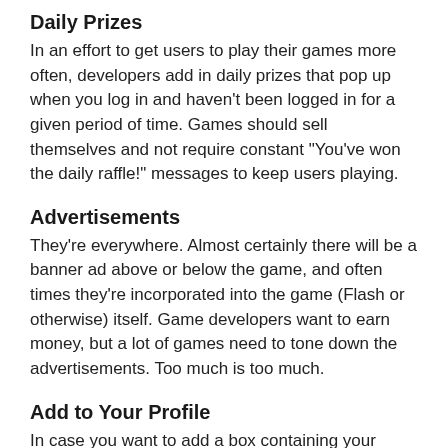Daily Prizes
In an effort to get users to play their games more often, developers add in daily prizes that pop up when you log in and haven't been logged in for a given period of time. Games should sell themselves and not require constant "You've won the daily raffle!" messages to keep users playing.
Advertisements
They're everywhere. Almost certainly there will be a banner ad above or below the game, and often times they're incorporated into the game (Flash or otherwise) itself. Game developers want to earn money, but a lot of games need to tone down the advertisements. Too much is too much.
Add to Your Profile
In case you want to add a box containing your